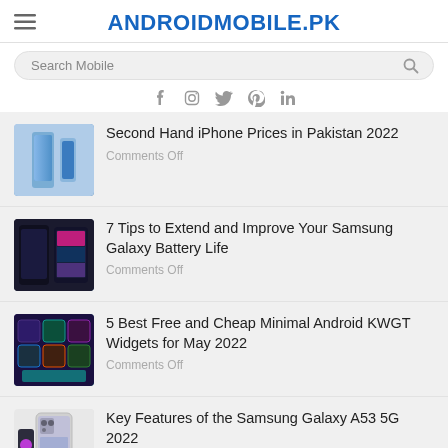ANDROIDMOBILE.PK
Search Mobile
Second Hand iPhone Prices in Pakistan 2022
Comments Off
7 Tips to Extend and Improve Your Samsung Galaxy Battery Life
Comments Off
5 Best Free and Cheap Minimal Android KWGT Widgets for May 2022
Comments Off
Key Features of the Samsung Galaxy A53 5G 2022
Comments Off